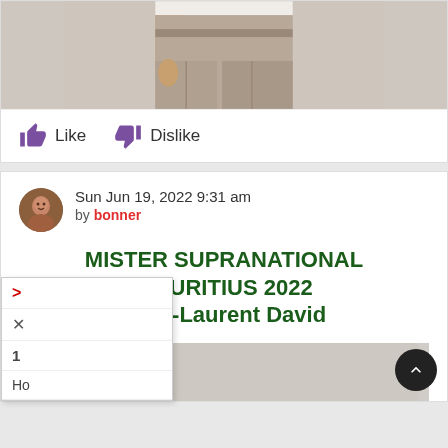[Figure (photo): Partial view of a person wearing beige/khaki trousers and a white shirt, showing torso and legs from approximately waist down]
Like   Dislike
Sun Jun 19, 2022 9:31 am
by bonner
MISTER SUPRANATIONAL MAURITIUS 2022 Jean-Laurent David
[Figure (photo): Partially visible image preview with grey background at bottom of card]
> × 1 Ho